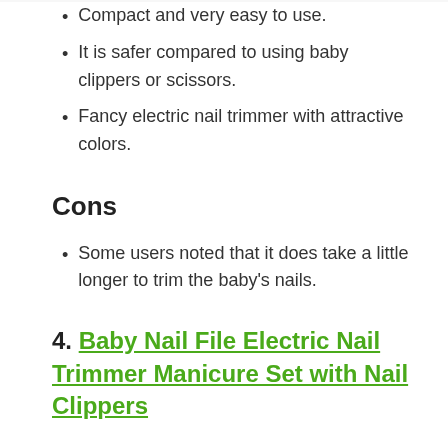Compact and very easy to use.
It is safer compared to using baby clippers or scissors.
Fancy electric nail trimmer with attractive colors.
Cons
Some users noted that it does take a little longer to trim the baby's nails.
4. Baby Nail File Electric Nail Trimmer Manicure Set with Nail Clippers
Why We Selected This